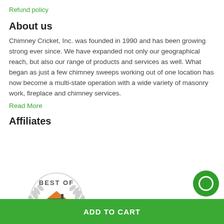Refund policy
About us
Chimney Cricket, Inc. was founded in 1990 and has been growing strong ever since. We have expanded not only our geographical reach, but also our range of products and services as well. What began as just a few chimney sweeps working out of one location has now become a multi-state operation with a wide variety of masonry work, fireplace and chimney services.
Read More
Affiliates
[Figure (logo): HomeAdvisor Best Of badge — circular badge with laurel wreaths, house icon in orange and dark grey, text 'BEST OF' at top, 'HomeAdvisor' in orange and dark at bottom]
ADD TO CART